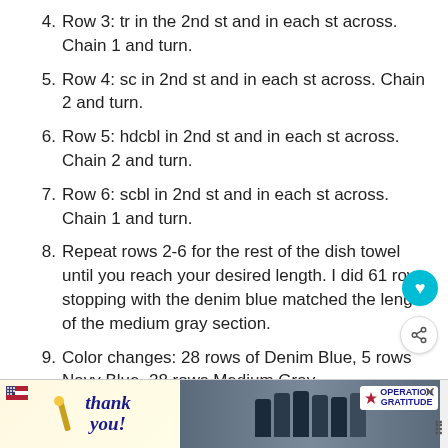4. Row 3: tr in the 2nd st and in each st across. Chain 1 and turn.
5. Row 4: sc in 2nd st and in each st across. Chain 2 and turn.
6. Row 5: hdcbl in 2nd st and in each st across. Chain 2 and turn.
7. Row 6: scbl in 2nd st and in each st across. Chain 1 and turn.
8. Repeat rows 2-6 for the rest of the dish towel until you reach your desired length. I did 61 rows stopping with the denim blue matched the length of the medium gray section.
9. Color changes: 28 rows of Denim Blue, 5 rows Navy Blue, 28 rows Medium Gray.
10. Knot and weave in ends using a tapestry needle. Cut off excess yarn. Block if you want.
[Figure (photo): Advertisement banner at bottom: 'Thank you!' text with American flag theme on left, photo of firefighters/military personnel in center, Operation Gratitude logo on right with close button.]